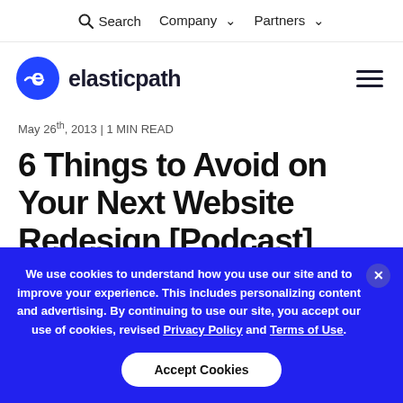Search  Company ▾  Partners ▾
[Figure (logo): Elastic Path logo — stylized 'e' in blue circle with logo text 'elasticpath' in dark bold font, plus hamburger menu icon on right]
May 26th, 2013 | 1 MIN READ
6 Things to Avoid on Your Next Website Redesign [Podcast]
We use cookies to understand how you use our site and to improve your experience. This includes personalizing content and advertising. By continuing to use our site, you accept our use of cookies, revised Privacy Policy and Terms of Use.
Accept Cookies